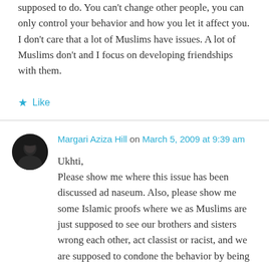supposed to do. You can't change other people, you can only control your behavior and how you let it affect you. I don't care that a lot of Muslims have issues. A lot of Muslims don't and I focus on developing friendships with them.
★ Like
Margari Aziza Hill on March 5, 2009 at 9:39 am
Ukhti,
Please show me where this issue has been discussed ad naseum. Also, please show me some Islamic proofs where we as Muslims are just supposed to see our brothers and sisters wrong each other, act classist or racist, and we are supposed to condone the behavior by being